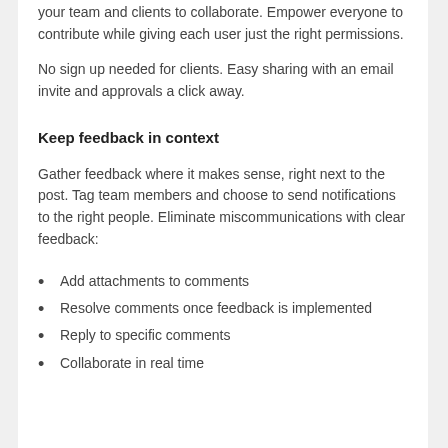your team and clients to collaborate. Empower everyone to contribute while giving each user just the right permissions.
No sign up needed for clients. Easy sharing with an email invite and approvals a click away.
Keep feedback in context
Gather feedback where it makes sense, right next to the post. Tag team members and choose to send notifications to the right people. Eliminate miscommunications with clear feedback:
Add attachments to comments
Resolve comments once feedback is implemented
Reply to specific comments
Collaborate in real time